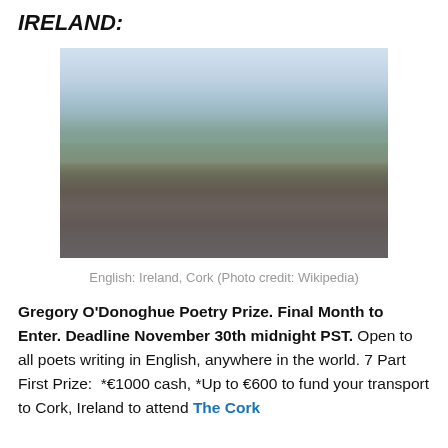IRELAND:
[Figure (photo): Aerial/elevated view of Cork, Ireland cityscape with buildings, church spires, and green hills in the background under a cloudy sky.]
English: Ireland, Cork (Photo credit: Wikipedia)
Gregory O'Donoghue Poetry Prize. Final Month to Enter. Deadline November 30th midnight PST. Open to all poets writing in English, anywhere in the world. 7 Part First Prize:  *€1000 cash, *Up to €600 to fund your transport to Cork, Ireland to attend The Cork